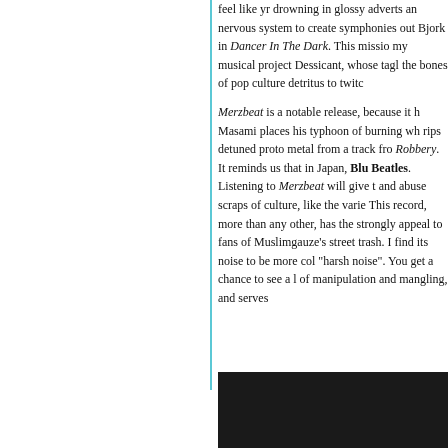feel like yr drowning in glossy adverts an nervous system to create symphonies out Bjork in Dancer In The Dark. This missio my musical project Dessicant, whose tagl the bones of pop culture detritus to twitc
Merzbeat is a notable release, because it h Masami places his typhoon of burning wh rips detuned proto metal from a track fro Robbery. It reminds us that in Japan, Blue Beatles. Listening to Merzbeat will give t and abuse scraps of culture, like the varie This record, more than any other, has the strongly appeal to fans of Muslimgauze's street trash. I find its noise to be more col "harsh noise". You get a chance to see a l of manipulation and mangling, and serves
[Figure (photo): Dark/black photograph, mostly black background]